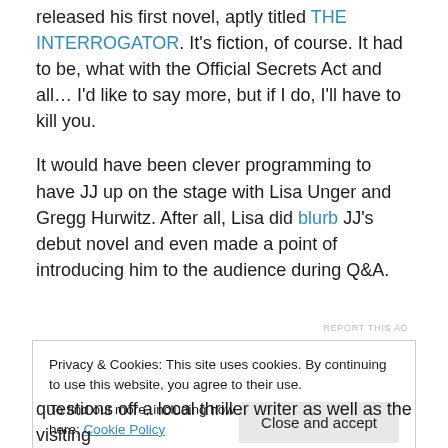released his first novel, aptly titled THE INTERROGATOR. It's fiction, of course. It had to be, what with the Official Secrets Act and all… I'd like to say more, but if I do, I'll have to kill you.
It would have been clever programming to have JJ up on the stage with Lisa Unger and Gregg Hurwitz. After all, Lisa did blurb JJ's debut novel and even made a point of introducing him to the audience during Q&A.
Privacy & Cookies: This site uses cookies. By continuing to use this website, you agree to their use. To find out more, including how to control cookies, see here: Cookie Policy
questions off a local thriller writer as well as the visiting